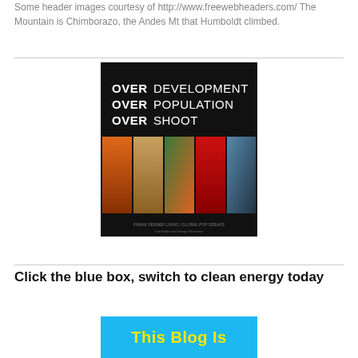Some header images courtesy of http://www.freewebheaders.com/ The Mountain is Chimborazo, the Andes Mt that Humboldt climbed.
[Figure (photo): Book cover for 'Overdevelopment Overpopulation Overshoot' showing bold white text on black background with a strip of environmental photographs below including fire, arid landscape, crowd of people, whale tail in red water, and aerial view of urban sprawl.]
Click the blue box, switch to clean energy today
[Figure (other): Blue box with yellow bold text reading 'This Blog Is']